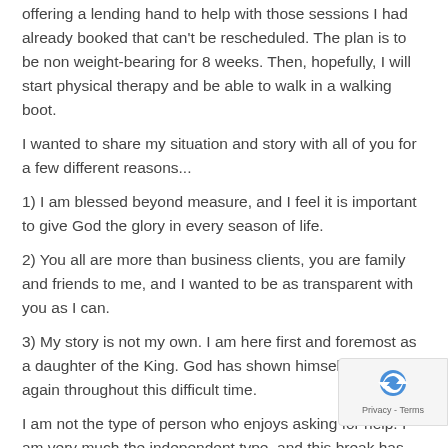offering a lending hand to help with those sessions I had already booked that can't be rescheduled. The plan is to be non weight-bearing for 8 weeks. Then, hopefully, I will start physical therapy and be able to walk in a walking boot.
I wanted to share my situation and story with all of you for a few different reasons...
1) I am blessed beyond measure, and I feel it is important to give God the glory in every season of life.
2) You all are more than business clients, you are family and friends to me, and I wanted to be as transparent with you as I can.
3) My story is not my own. I am here first and foremost as a daughter of the King. God has shown himself time and again throughout this difficult time.
I am not the type of person who enjoys asking for help. I am very much the independent type, and this break has taught me so much already about who I am and who I need to be. I am learning to find the bright spots and focus on those positive things instead of negatives. Again, I couldn't do this alone - God has placed pretty amazing people in my life who have already helped shape this